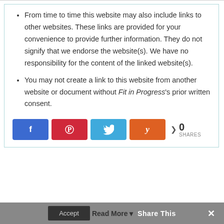From time to time this website may also include links to other websites. These links are provided for your convenience to provide further information. They do not signify that we endorse the website(s). We have no responsibility for the content of the linked website(s).
You may not create a link to this website from another website or document without Fit in Progress's prior written consent.
[Figure (infographic): Social share buttons: Facebook (blue), Pinterest (red), Twitter (light blue), Yummly (orange), followed by a share count showing 0 SHARES]
This website uses cookies to improve your experience. We'll assume you're ok with this, but you can opt-out if you wish.
Accept  Read More  Share This  ×